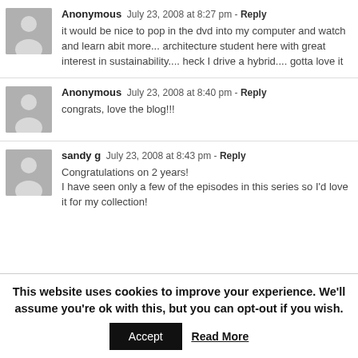Anonymous July 23, 2008 at 8:27 pm - Reply
it would be nice to pop in the dvd into my computer and watch and learn abit more... architecture student here with great interest in sustainability.... heck I drive a hybrid.... gotta love it
Anonymous July 23, 2008 at 8:40 pm - Reply
congrats, love the blog!!!
sandy g July 23, 2008 at 8:43 pm - Reply
Congratulations on 2 years!
I have seen only a few of the episodes in this series so I'd love it for my collection!
This website uses cookies to improve your experience. We'll assume you're ok with this, but you can opt-out if you wish.
Accept  Read More